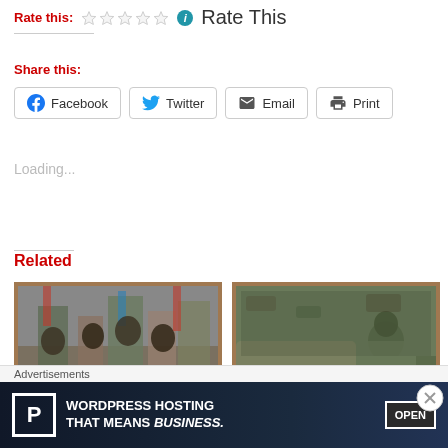Rate this: ☆☆☆☆☆ ℹ Rate This
Share this:
Facebook  Twitter  Email  Print
Loading...
Related
[Figure (photo): People gathered with South Sudan flags, protest or celebration scene]
[Figure (photo): Soldier in camouflage resting beside military vehicle]
Advertisements
[Figure (infographic): Advertisement banner: WordPress Hosting That Means Business. with P icon and OPEN sign image]